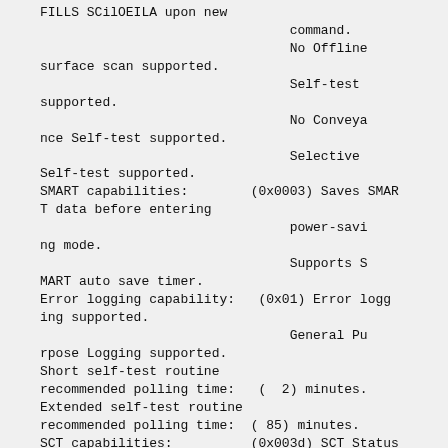FILLS SCilOEILA upon new command.
                                No Offline surface scan supported.
                                Self-test supported.
                                No Conveyance Self-test supported.
                                Selective Self-test supported.
SMART capabilities:        (0x0003) Saves SMART data before entering
                                power-saving mode.
                                Supports SMART auto save timer.
Error logging capability:   (0x01) Error logging supported.
                                General Purpose Logging supported.
Short self-test routine recommended polling time: (  2) minutes.
Extended self-test routine recommended polling time: ( 85) minutes.
SCT capabilities:          (0x003d) SCT Status